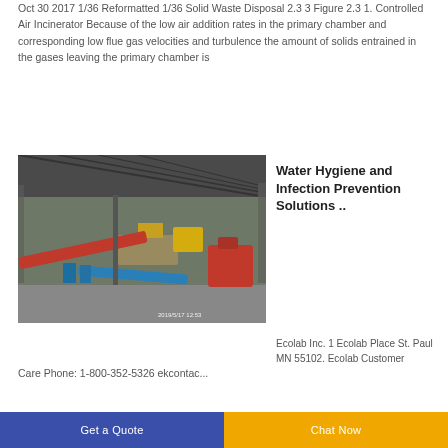Oct 30 2017 1/36 Reformatted 1/36 Solid Waste Disposal 2.3 3 Figure 2.3 1. Controlled Air Incinerator Because of the low air addition rates in the primary chamber and corresponding low flue gas velocities and turbulence the amount of solids entrained in the gases leaving the primary chamber is
[Figure (photo): Industrial facility interior showing conveyor belts, machinery, barrels, and construction/waste processing equipment under a large metal roof canopy. Timestamp 2019/5/17 12:53 visible in bottom right.]
Water Hygiene and Infection Prevention Solutions ..
Ecolab Inc. 1 Ecolab Place St. Paul MN 55102. Ecolab Customer Care Phone: 1-800-352-5326 ekcontac...
Get a Quote    Chat Now